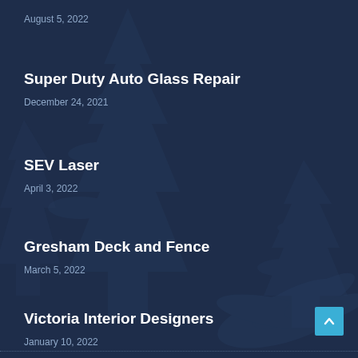August 5, 2022
Super Duty Auto Glass Repair
December 24, 2021
SEV Laser
April 3, 2022
Gresham Deck and Fence
March 5, 2022
Victoria Interior Designers
January 10, 2022